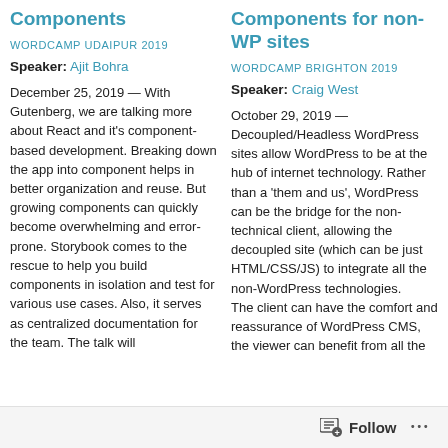Components
WORDCAMP UDAIPUR 2019
Speaker: Ajit Bohra
December 25, 2019 — With Gutenberg, we are talking more about React and it's component-based development. Breaking down the app into component helps in better organization and reuse. But growing components can quickly become overwhelming and error-prone. Storybook comes to the rescue to help you build components in isolation and test for various use cases. Also, it serves as centralized documentation for the team. The talk will
Components for non-WP sites
WORDCAMP BRIGHTON 2019
Speaker: Craig West
October 29, 2019 — Decoupled/Headless WordPress sites allow WordPress to be at the hub of internet technology. Rather than a 'them and us', WordPress can be the bridge for the non-technical client, allowing the decoupled site (which can be just HTML/CSS/JS) to integrate all the non-WordPress technologies. The client can have the comfort and reassurance of WordPress CMS, the viewer can benefit from all the
Follow ...